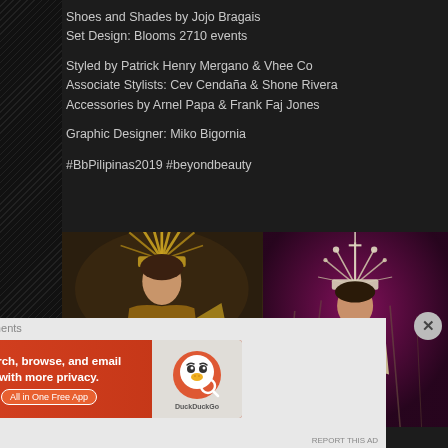Shoes and Shades by Jojo Bragais
Set Design: Blooms 2710 events
Styled by Patrick Henry Mergano & Vhee Co
Associate Stylists: Cev Cendaña & Shone Rivera
Accessories by Arnel Papa & Frank Faj Jones
Graphic Designer: Miko Bigornia
#BbPilipinas2019 #beyondbeauty
[Figure (photo): Two side-by-side photos of women in elaborate Filipino national costumes with ornate gold headdresses, set against dark backgrounds with natural elements]
Advertisements
[Figure (other): DuckDuckGo advertisement banner: 'Search, browse, and email with more privacy. All in One Free App' with DuckDuckGo logo on right side, orange/red background]